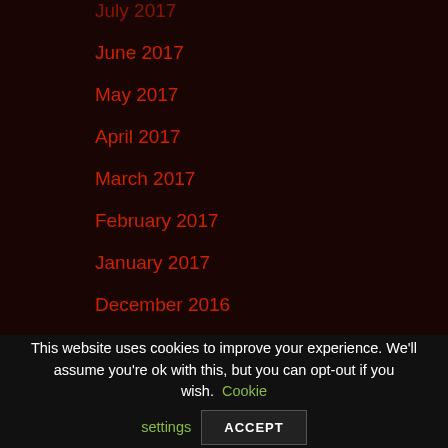July 2017
June 2017
May 2017
April 2017
March 2017
February 2017
January 2017
December 2016
November 2016
October 2016
September 2016
This website uses cookies to improve your experience. We'll assume you're ok with this, but you can opt-out if you wish. Cookie settings ACCEPT